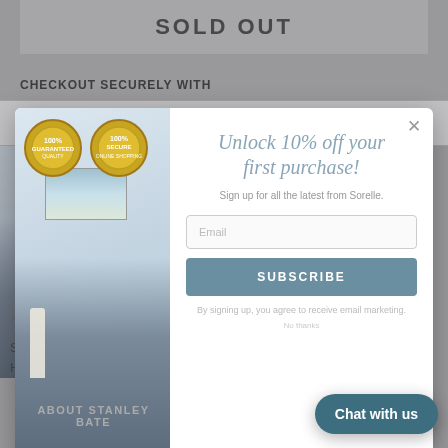SOLD OUT
CHECKOUT SECURELY WITH
[Figure (screenshot): Payment method logos: VISA, Mastercard, American Express, Google Pay, Discover, D Pay]
[Figure (screenshot): Email signup modal overlay with text: Unlock 10% off your first purchase! Sign up for all the latest from Sorelle. Email input field, SUBSCRIBE button, and disclaimer: By signing up, you agree to receive email marketing.]
ABOUT STANLEY BATE
Stanley Bate was born on M... in Nashville, Tennessee to Henry C. and
[Figure (screenshot): Chat with us button in teal/dark blue rounded pill shape at bottom right]